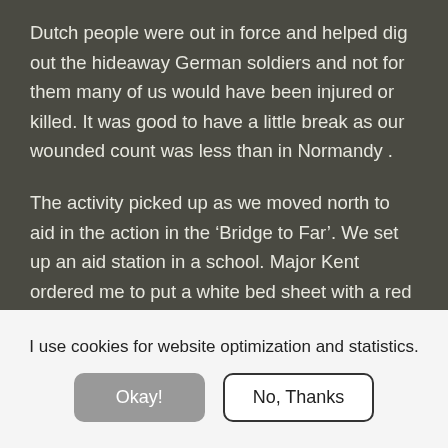Dutch people were out in force and helped dig out the hideaway German soldiers and not for them many of us would have been injured or killed. It was good to have a little break as our wounded count was less than in Normandy .
The activity picked up as we moved north to aid in the action in the ‘Bridge to Far’. We set up an aid station in a school. Major Kent ordered me to put a white bed sheet with a red cross painted with mercurochrome on the roof. Within minutes there was an explosion. We hit the floor then another explosion hit. A German shell almost hit the
I use cookies for website optimization and statistics.
Okay!
No, Thanks